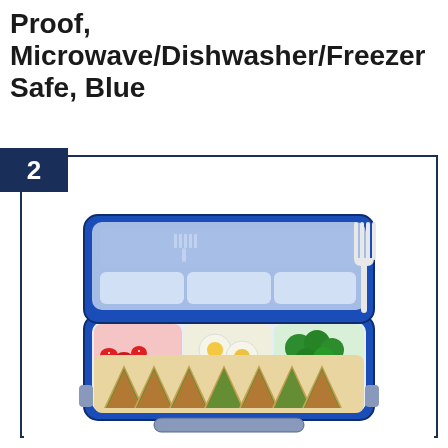Proof, Microwave/Dishwasher/Freezer Safe, Blue
2
[Figure (photo): Blue bento lunchbox open showing multiple compartments filled with strawberries, hard-boiled eggs, broccoli, and sandwich pieces. A white plastic fork is shown to the right of the box.]